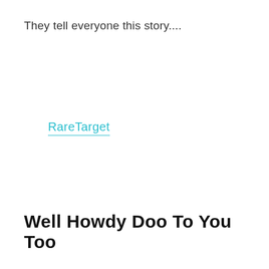They tell everyone this story....
RareTarget
Well Howdy Doo To You Too